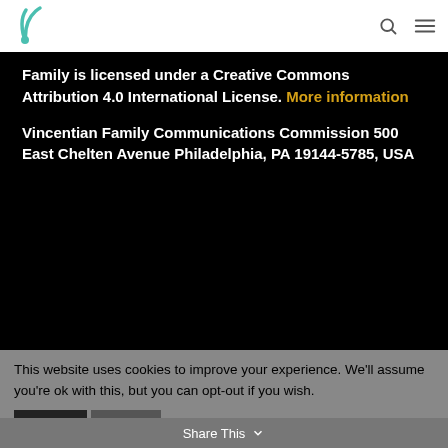Vincentian Family (logo) | search | menu
Family is licensed under a Creative Commons Attribution 4.0 International License. More information
Vincentian Family Communications Commission 500 East Chelten Avenue Philadelphia, PA 19144-5785, USA
[Figure (infographic): Social media icons: Facebook, Twitter, Pinterest, RSS, YouTube]
This website uses cookies to improve your experience. We'll assume you're ok with this, but you can opt-out if you wish.
Accept | Reject | Cookie Policy | Share This | ×